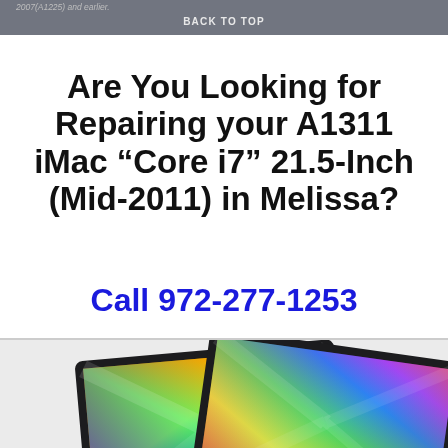2007(A1225) and earlier.
BACK TO TOP
Are You Looking for Repairing your A1311 iMac “Core i7” 21.5-Inch (Mid-2011) in Melissa?
Call 972-277-1253
[Figure (photo): Two MacBook Pro laptops shown at an angle with colorful abstract wallpapers on their screens, displayed against a light gray background.]